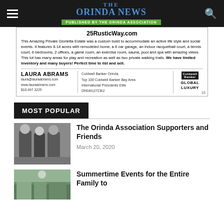The Orinda News - Published by the Orinda Association
[Figure (other): Real estate advertisement for 25RusticWay.com featuring Laura Abrams, Coldwell Banker Orinda, Global Luxury branding]
MOST POPULAR
[Figure (photo): Group photo of people at Orinda Association event]
The Orinda Association Supporters and Friends
March 20, 2020
[Figure (photo): Outdoor photo for Summertime Events article]
Summertime Events for the Entire Family to